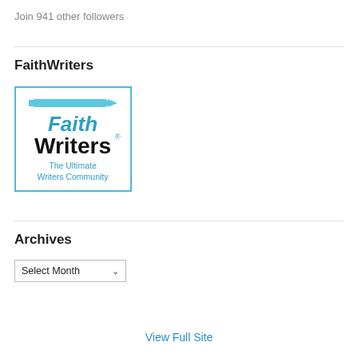Join 941 other followers
FaithWriters
[Figure (logo): FaithWriters logo with pencil icon, blue text 'Faith' and bold black text 'Writers' with registered trademark symbol, and blue subtitle 'The Ultimate Writers Community']
Archives
Select Month
View Full Site